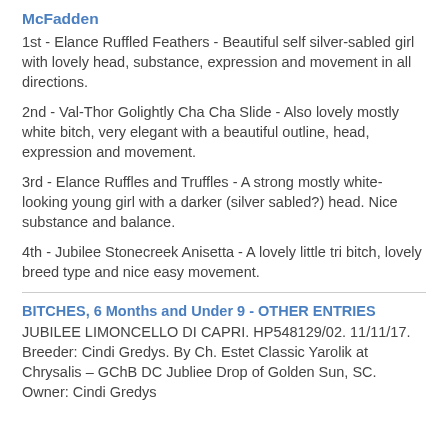McFadden
1st - Elance Ruffled Feathers - Beautiful self silver-sabled girl with lovely head, substance, expression and movement in all directions.
2nd - Val-Thor Golightly Cha Cha Slide - Also lovely mostly white bitch, very elegant with a beautiful outline, head, expression and movement.
3rd - Elance Ruffles and Truffles - A strong mostly white-looking young girl with a darker (silver sabled?) head. Nice substance and balance.
4th - Jubilee Stonecreek Anisetta - A lovely little tri bitch, lovely breed type and nice easy movement.
BITCHES, 6 Months and Under 9 - OTHER ENTRIES
JUBILEE LIMONCELLO DI CAPRI. HP548129/02. 11/11/17. Breeder: Cindi Gredys. By Ch. Estet Classic Yarolik at Chrysalis – GChB DC Jubliee Drop of Golden Sun, SC. Owner: Cindi Gredys